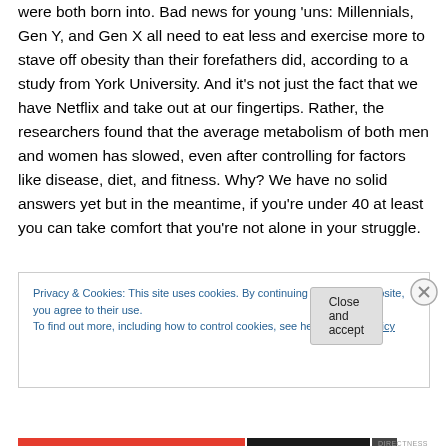were both born into. Bad news for young 'uns: Millennials, Gen Y, and Gen X all need to eat less and exercise more to stave off obesity than their forefathers did, according to a study from York University. And it's not just the fact that we have Netflix and take out at our fingertips. Rather, the researchers found that the average metabolism of both men and women has slowed, even after controlling for factors like disease, diet, and fitness. Why? We have no solid answers yet but in the meantime, if you're under 40 at least you can take comfort that you're not alone in your struggle.
Privacy & Cookies: This site uses cookies. By continuing to use this website, you agree to their use.
To find out more, including how to control cookies, see here: Cookie Policy